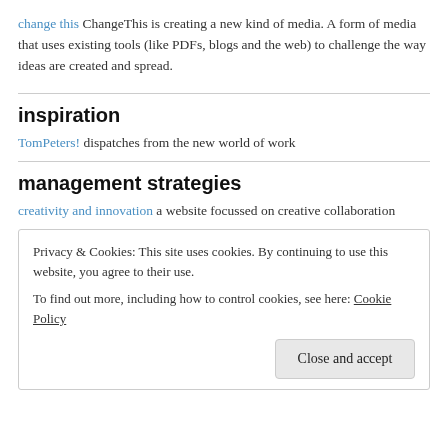change this ChangeThis is creating a new kind of media. A form of media that uses existing tools (like PDFs, blogs and the web) to challenge the way ideas are created and spread.
inspiration
TomPeters! dispatches from the new world of work
management strategies
creativity and innovation a website focussed on creative collaboration
Privacy & Cookies: This site uses cookies. By continuing to use this website, you agree to their use.
To find out more, including how to control cookies, see here: Cookie Policy
Close and accept